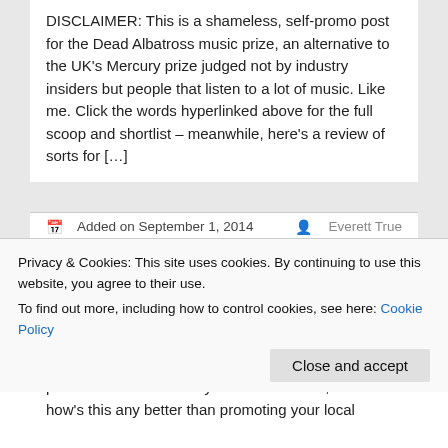DISCLAIMER: This is a shameless, self-promo post for the Dead Albatross music prize, an alternative to the UK's Mercury prize judged not by industry insiders but people that listen to a lot of music. Like me. Click the words hyperlinked above for the full scoop and shortlist – meanwhile, here's a review of sorts for […]
Added on September 1, 2014   Everett True
The return of Everett True | 48. FKA Twigs
Privacy & Cookies: This site uses cookies. By continuing to use this website, you agree to their use.
To find out more, including how to control cookies, see here: Cookie Policy
personas. Kids under my air radar. I mean, how's this any better than promoting your local